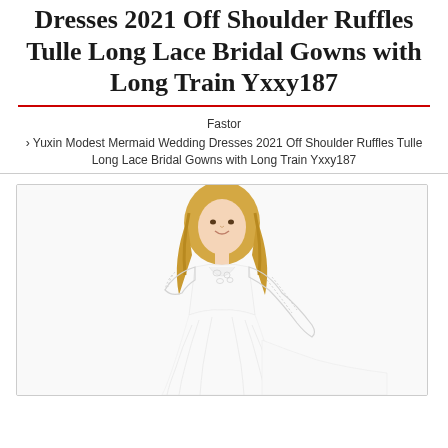Dresses 2021 Off Shoulder Ruffles Tulle Long Lace Bridal Gowns with Long Train Yxxy187
Fastor
› Yuxin Modest Mermaid Wedding Dresses 2021 Off Shoulder Ruffles Tulle Long Lace Bridal Gowns with Long Train Yxxy187
[Figure (photo): A woman modeling a white bridal gown with lace sleeves and long train, viewed from the front against a white background.]